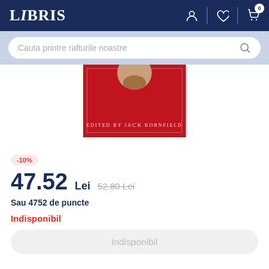LIBRIS
Cauta printre rafturile noastre
[Figure (photo): Red book cover with face/head illustration and text 'EDITED BY JACK KORNFIELD']
-10%
47.52 Lei  52.80 Lei
Sau 4752 de puncte
Indisponibil
Indisponibil